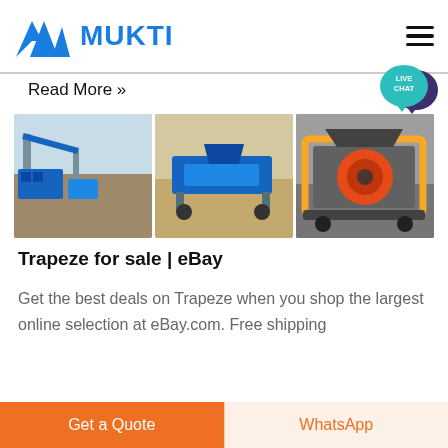[Figure (logo): Mukti company logo with blue geometric mountain-like triangle mark and bold blue MUKTI text]
[Figure (illustration): Hamburger menu icon (three horizontal black lines)]
[Figure (illustration): Live Chat speech bubble icon in teal/dark purple with text LIVE CHAT]
Read More »
[Figure (photo): Three side-by-side photos of industrial crushing/mining equipment: a large plant with conveyor belts, a mobile blue crusher in a sandy area, and a jaw crusher with yellow frame.]
Trapeze for sale | eBay
Get the best deals on Trapeze when you shop the largest online selection at eBay.com. Free shipping
Get a Quote
WhatsApp